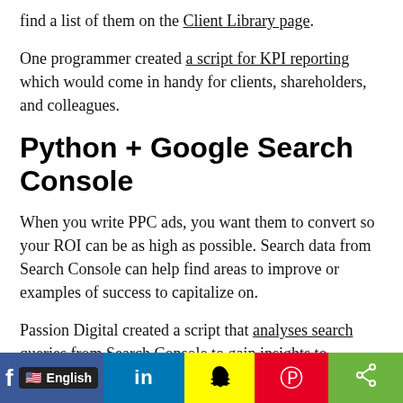find a list of them on the Client Library page.
One programmer created a script for KPI reporting which would come in handy for clients, shareholders, and colleagues.
Python + Google Search Console
When you write PPC ads, you want them to convert so your ROI can be as high as possible. Search data from Search Console can help find areas to improve or examples of success to capitalize on.
Passion Digital created a script that analyses search queries from Search Console to gain insights to improve SEO and PPC performance. It does this by finding keywords and phrases with poor conversion rates and
[Figure (infographic): Social media sharing bar with Facebook (English language selector), LinkedIn, Snapchat, Pinterest, and share icons]